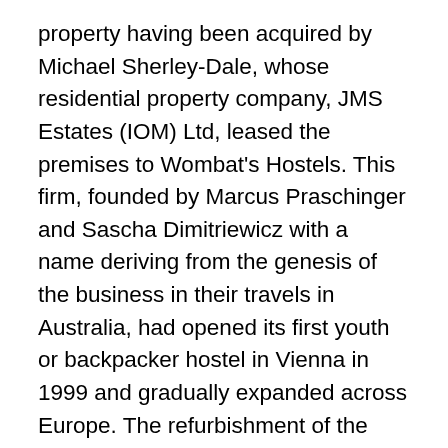property having been acquired by Michael Sherley-Dale, whose residential property company, JMS Estates (IOM) Ltd, leased the premises to Wombat's Hostels. This firm, founded by Marcus Praschinger and Sascha Dimitriewicz with a name deriving from the genesis of the business in their travels in Australia, had opened its first youth or backpacker hostel in Vienna in 1999 and gradually expanded across Europe. The refurbishment of the Dock Street–Ensign Street hostel was by Andrew Mulroy architects, with Eastern Corporation as the main contractors, and Peter Thompson as the project manager. Little external fabric apart from the entrance doors and canopy was replaced, but the middle range of the 1860s was raised by two storeys and the internal courtyard was landscaped as a garden. The main internal change was from single bedrooms to dormitories. Wombat's London opened with 618 beds. In